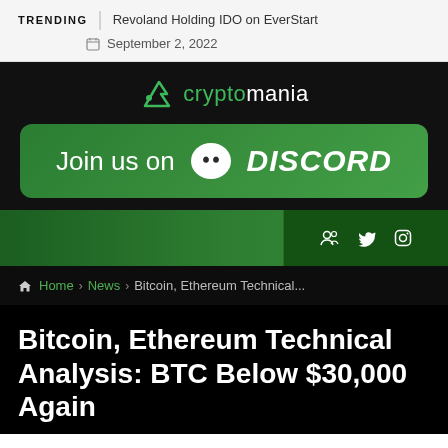TRENDING | Revoland Holding IDO on EverStart
September 2, 2022
[Figure (logo): Cryptomania logo with green arrow icon and site name]
[Figure (infographic): Join us on Discord green banner with Discord logo and wordmark]
[Figure (infographic): Green navigation bar with social media icons (group, twitter, instagram) on dark right panel]
Home > News > Bitcoin, Ethereum Technical...
Bitcoin, Ethereum Technical Analysis: BTC Below $30,000 Again